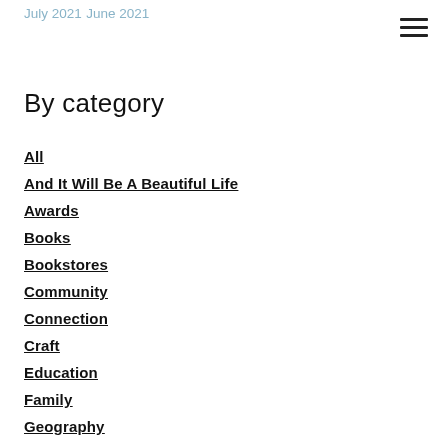July 2021
June 2021
By category
All
And It Will Be A Beautiful Life
Awards
Books
Bookstores
Community
Connection
Craft
Education
Family
Geography
History
Memory
Montana
NaNoWriMo